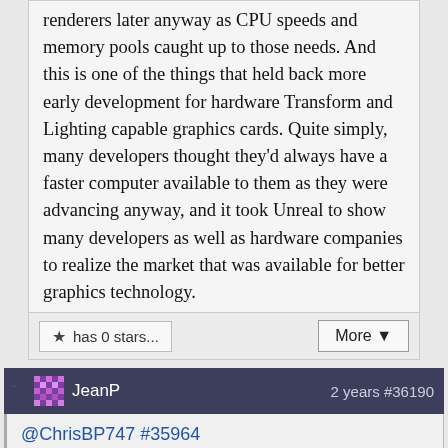renderers later anyway as CPU speeds and memory pools caught up to those needs. And this is one of the things that held back more early development for hardware Transform and Lighting capable graphics cards. Quite simply, many developers thought they'd always have a faster computer available to them as they were advancing anyway, and it took Unreal to show many developers as well as hardware companies to realize the market that was available for better graphics technology.
★ has 0 stars...
More ▼
JeanP — 2 years #36190
@ChrisBP747 #35964
In the 1920s, when Jews started to top White Anglo-Saxon Protestant students for college entrance examinations, new